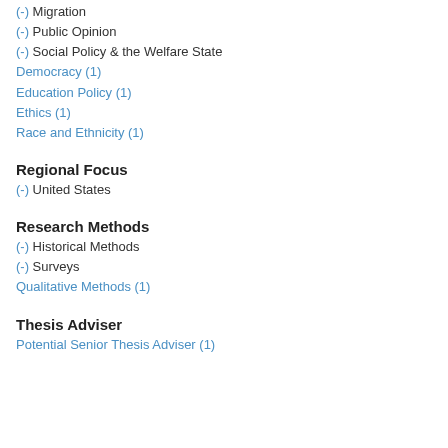(-) Migration
(-) Public Opinion
(-) Social Policy & the Welfare State
Democracy (1)
Education Policy (1)
Ethics (1)
Race and Ethnicity (1)
Regional Focus
(-) United States
Research Methods
(-) Historical Methods
(-) Surveys
Qualitative Methods (1)
Thesis Adviser
Potential Senior Thesis Adviser (1)